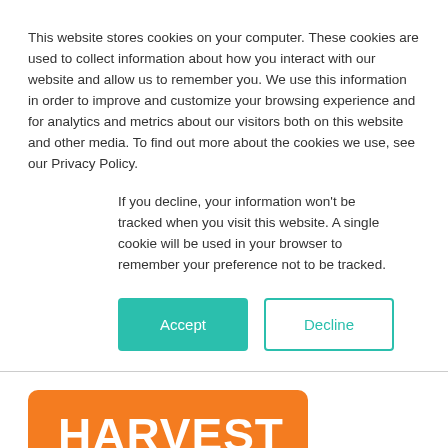This website stores cookies on your computer. These cookies are used to collect information about how you interact with our website and allow us to remember you. We use this information in order to improve and customize your browsing experience and for analytics and metrics about our visitors both on this website and other media. To find out more about the cookies we use, see our Privacy Policy.
If you decline, your information won't be tracked when you visit this website. A single cookie will be used in your browser to remember your preference not to be tracked.
Accept
Decline
[Figure (logo): Harvest logo — orange rounded rectangle with white bold text 'HARVEST']
From the Harvest website:
Time tracking is simple and lightning fast with